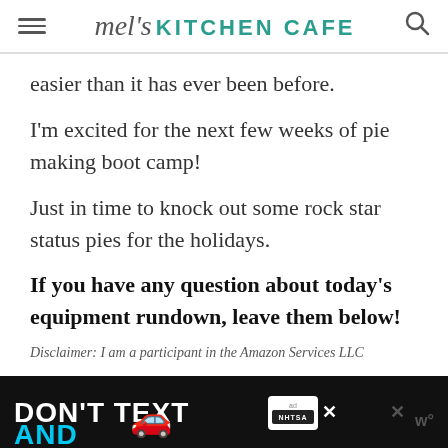mel's KITCHEN CAFE
easier than it has ever been before.
I'm excited for the next few weeks of pie making boot camp!
Just in time to knock out some rock star status pies for the holidays.
If you have any question about today's equipment rundown, leave them below!
Disclaimer: I am a participant in the Amazon Services LLC
[Figure (screenshot): DON'T TEXT AND [car emoji] advertisement banner with ad badge and NHTSA logo at bottom of page]